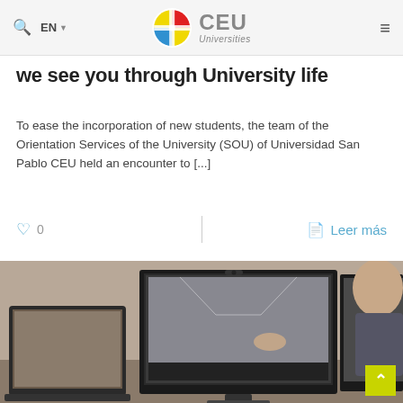CEU Universities — EN navigation header
we see you through University life
To ease the incorporation of new students, the team of the Orientation Services of the University (SOU) of Universidad San Pablo CEU held an encounter to [...]
♡ 0   |   Leer más
[Figure (photo): Person working at a desk with multiple monitors showing 3D architectural/interior design software; the person has a beard and is touching one of the screens.]